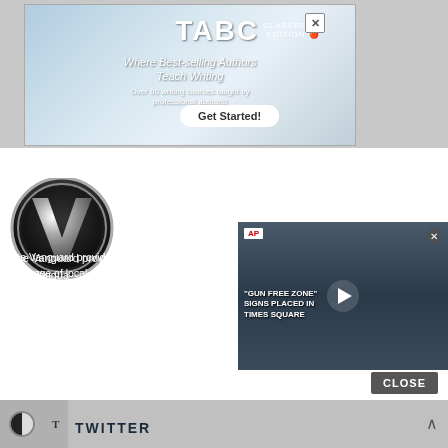[Figure (screenshot): TABC Classroom Edition advertisement banner — 'Where Best-selling Authors Teach Writing' with 'Get Started!' button]
ABOUT US
[Figure (logo): Davis Vanguard circular logo with metallic V and text davisvanguard.org]
The Vanguard provides the Davis area with in-depth coverage of local government and policy issues. Since 2006, The Vanguard has provided Yolo County with some of the best and most in-depth coverage on local government and policy issues affecting our city, our schools, the county, and the Sacramento Region.
[Figure (screenshot): AP video thumbnail — 'Gun Free Zone Signs Placed in Times Square' with play button]
CLOSE
TWITTER